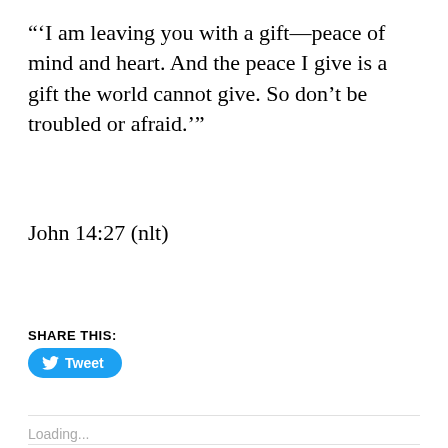"'I am leaving you with a gift—peace of mind and heart. And the peace I give is a gift the world cannot give. So don't be troubled or afraid.'"
John 14:27 (nlt)
SHARE THIS:
[Figure (other): Twitter Tweet button (blue rounded rectangle with bird icon and 'Tweet' label)]
Loading...